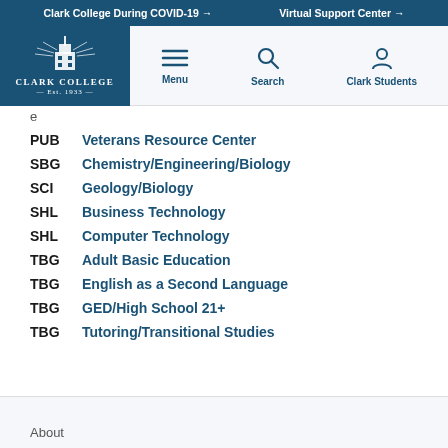Clark College During COVID-19 →   Virtual Support Center →
[Figure (logo): Clark College logo with building illustration, white on dark blue background, text: CLARK COLLEGE EST. 1933]
PUB   Veterans Resource Center
SBG   Chemistry/Engineering/Biology
SCI   Geology/Biology
SHL   Business Technology
SHL   Computer Technology
TBG   Adult Basic Education
TBG   English as a Second Language
TBG   GED/High School 21+
TBG   Tutoring/Transitional Studies
About